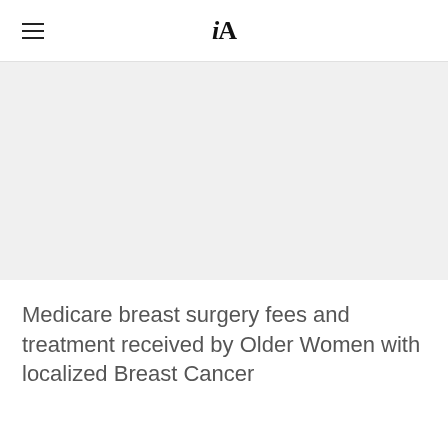iA
[Figure (photo): Light grey placeholder image area representing a hero/banner image]
Medicare breast surgery fees and treatment received by Older Women with localized Breast Cancer